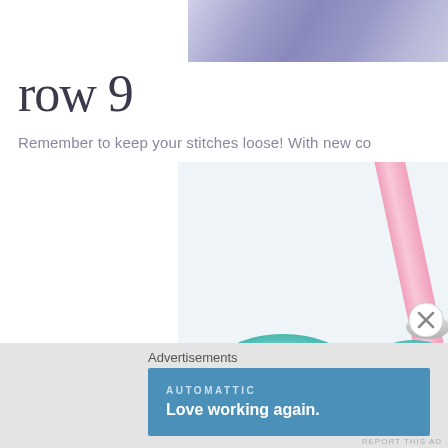[Figure (photo): Partial view of colorful yarn skeins in blue and purple tones, cropped at the top of the page]
row 9
Remember to keep your stitches loose!  With new co
[Figure (photo): Close-up photo of crochet hook with pink/white handle and teal yarn below, on white background]
Advertisements
[Figure (screenshot): Automattic advertisement banner: 'Love working again.' on blue background]